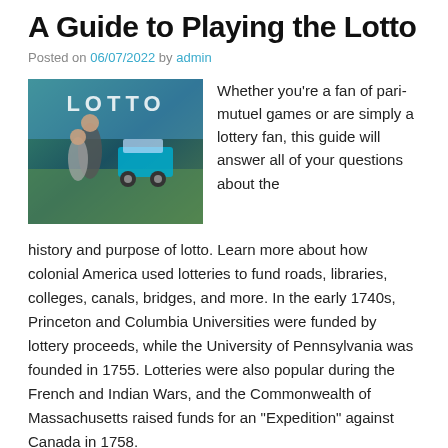A Guide to Playing the Lotto
Posted on 06/07/2022 by admin
[Figure (photo): Photo with LOTTO text overlay showing two people near a golf cart outdoors]
Whether you’re a fan of pari-mutuel games or are simply a lottery fan, this guide will answer all of your questions about the history and purpose of lotto. Learn more about how colonial America used lotteries to fund roads, libraries, colleges, canals, bridges, and more. In the early 1740s, Princeton and Columbia Universities were funded by lottery proceeds, while the University of Pennsylvania was founded in 1755. Lotteries were also popular during the French and Indian Wars, and the Commonwealth of Massachusetts raised funds for an “Expedition” against Canada in 1758.
Lotto is a pari-mutuel game